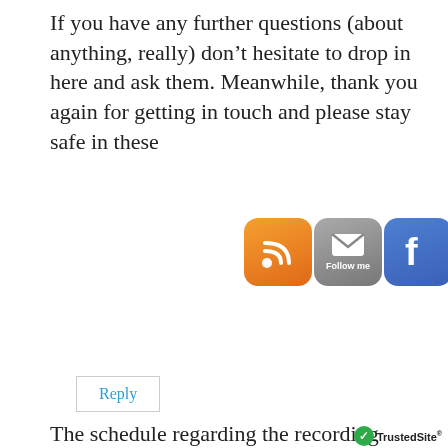If you have any further questions (about anything, really) don’t hesitate to drop in here and ask them. Meanwhile, thank you again for getting in touch and please stay safe in these [times].
[Figure (infographic): Four social media / follow icons: RSS (orange), Email Follow me (gray), Facebook (blue), Twitter (light blue)]
Reply
Irene
Privacy & Cookies: This site uses cookies. By continuing to use this website, you agree to their use.
To find out more, including how to control cookies, see here:
Cookie Policy
Close and accept
The schedule regarding the recording